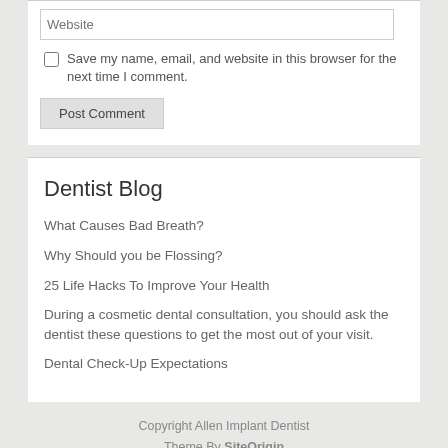Website (input field)
Save my name, email, and website in this browser for the next time I comment.
Post Comment
Dentist Blog
What Causes Bad Breath?
Why Should you be Flossing?
25 Life Hacks To Improve Your Health
During a cosmetic dental consultation, you should ask the dentist these questions to get the most out of your visit.
Dental Check-Up Expectations
Copyright Allen Implant Dentist
Theme By SiteOrigin